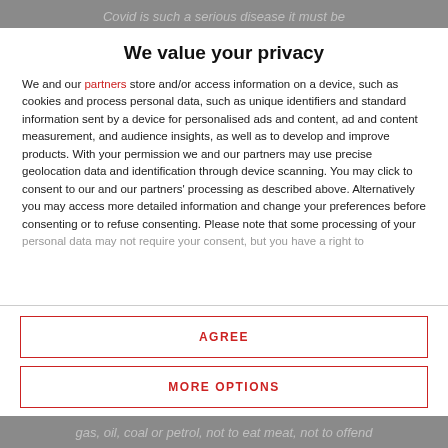Covid is such a serious disease it must be
We value your privacy
We and our partners store and/or access information on a device, such as cookies and process personal data, such as unique identifiers and standard information sent by a device for personalised ads and content, ad and content measurement, and audience insights, as well as to develop and improve products. With your permission we and our partners may use precise geolocation data and identification through device scanning. You may click to consent to our and our partners' processing as described above. Alternatively you may access more detailed information and change your preferences before consenting or to refuse consenting. Please note that some processing of your personal data may not require your consent, but you have a right to
AGREE
MORE OPTIONS
gas, oil, coal or petrol, not to eat meat, not to offend